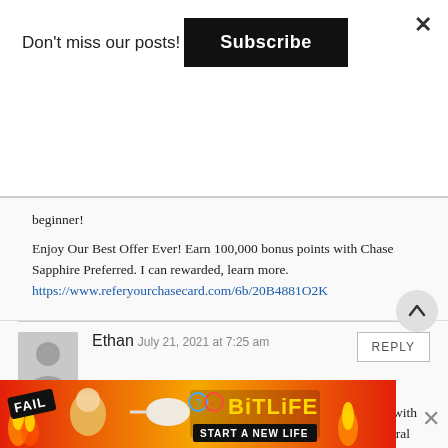Don't miss our posts!
Subscribe
beginner!
Enjoy Our Best Offer Ever! Earn 100,000 bonus points with Chase Sapphire Preferred. I can rewarded, learn more. https://www.referyourchasecard.com/6b/20B4881O2K
Ethan
July 21, 2021 at 7:25 am
REPLY
Enjoy The Best Offer Ever! Earn 100,000 bonus points with Chase Sapphire Preferred. Thank you for using my referral link.
[Figure (infographic): BitLife advertisement banner with FAIL badge, cartoon character, flames, and START A NEW LIFE tagline]